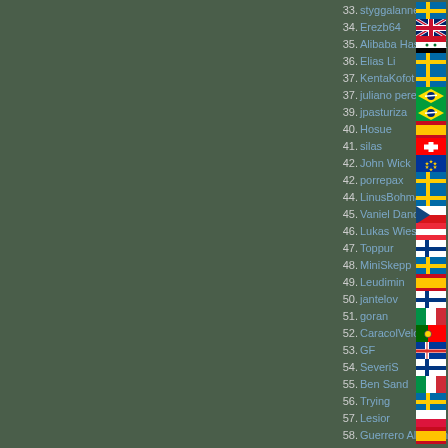33. styggalanne
34. Erezb64
35. Alibaba Hassan Kebab
36. Elias Li
37. KentaKofot
37. juliano pereira
39. jpasturiza
40. Hosue
41. silas
42. John Wick
42. porrepax
44. LinusBohman
45. Vaniel Dandas
46. Lukas Wieser
47. Toppur
48. MiniSkepp
49. Leudimin
50. jantelov
51. goran
52. CaracolVeloz
53. GF
54. SeveriS
55. Ben Sand
56. Trying
57. Lesior
58. Guerrero Alicantino